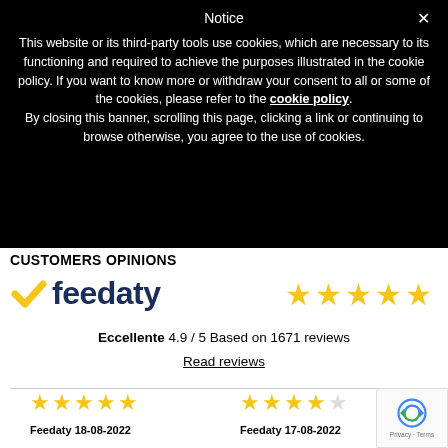Notice  ×
This website or its third-party tools use cookies, which are necessary to its functioning and required to achieve the purposes illustrated in the cookie policy. If you want to know more or withdraw your consent to all or some of the cookies, please refer to the cookie policy. By closing this banner, scrolling this page, clicking a link or continuing to browse otherwise, you agree to the use of cookies.
CUSTOMERS OPINIONS
[Figure (logo): Feedaty logo with gold checkmark and dark blue text reading 'feedaty', alongside 5 gold stars rating]
Eccellente 4.9 / 5 Based on 1671 reviews
Read reviews
[Figure (infographic): Two partial review cards each showing 5 gold stars and Feedaty date labels: Feedaty 18-08-2022 and Feedaty 17-08-2022]